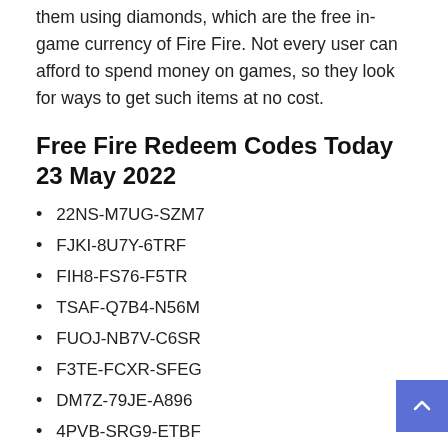However, items are not free, and users must purchase them using diamonds, which are the free in-game currency of Fire Fire. Not every user can afford to spend money on games, so they look for ways to get such items at no cost.
Free Fire Redeem Codes Today 23 May 2022
22NS-M7UG-SZM7
FJKI-8U7Y-6TRF
FIH8-FS76-F5TR
TSAF-Q7B4-N56M
FUOJ-NB7V-C6SR
F3TE-FCXR-SFEG
DM7Z-79JE-A896
4PVB-SRG9-ETBF
Q4QU-4GQG-E5KD